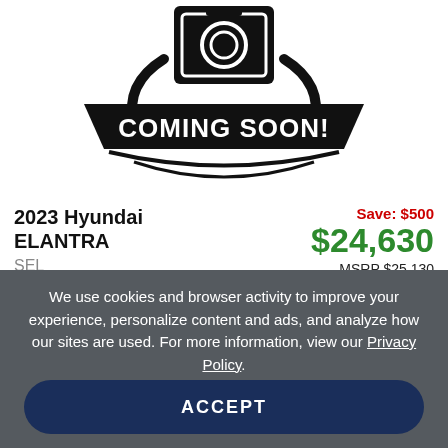[Figure (illustration): Black and white 'Coming Soon!' badge graphic with camera icon on top and curved banner shape with bold text]
2023 Hyundai ELANTRA SEL
Save: $500 $24,630 MSRP $25,130
We use cookies and browser activity to improve your experience, personalize content and ads, and analyze how our sites are used. For more information, view our Privacy Policy.
ACCEPT